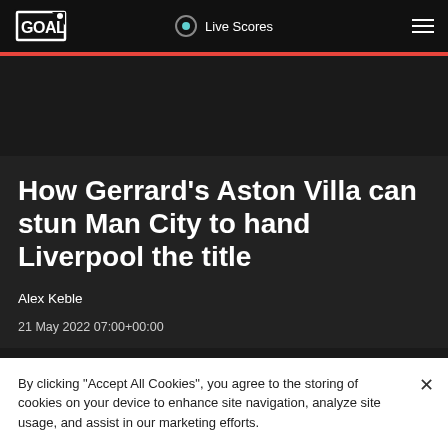GOAL | Live Scores
How Gerrard's Aston Villa can stun Man City to hand Liverpool the title
Alex Keble
21 May 2022 07:00+00:00
By clicking “Accept All Cookies”, you agree to the storing of cookies on your device to enhance site navigation, analyze site usage, and assist in our marketing efforts.